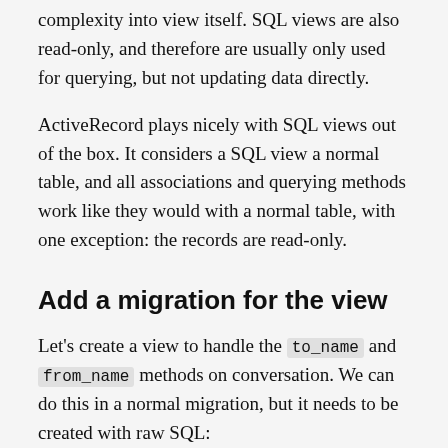complexity into view itself. SQL views are also read-only, and therefore are usually only used for querying, but not updating data directly.
ActiveRecord plays nicely with SQL views out of the box. It considers a SQL view a normal table, and all associations and querying methods work like they would with a normal table, with one exception: the records are read-only.
Add a migration for the view
Let's create a view to handle the to_name and from_name methods on conversation. We can do this in a normal migration, but it needs to be created with raw SQL: